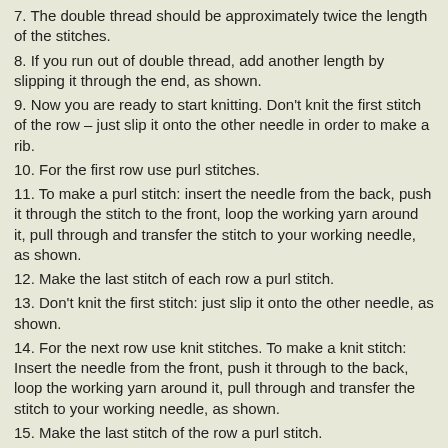7. The double thread should be approximately twice the length of the stitches.
8. If you run out of double thread, add another length by slipping it through the end, as shown.
9. Now you are ready to start knitting. Don't knit the first stitch of the row – just slip it onto the other needle in order to make a rib.
10. For the first row use purl stitches.
11. To make a purl stitch: insert the needle from the back, push it through the stitch to the front, loop the working yarn around it, pull through and transfer the stitch to your working needle, as shown.
12. Make the last stitch of each row a purl stitch.
13. Don't knit the first stitch: just slip it onto the other needle, as shown.
14. For the next row use knit stitches. To make a knit stitch: Insert the needle from the front, push it through to the back, loop the working yarn around it, pull through and transfer the stitch to your working needle, as shown.
15. Make the last stitch of the row a purl stitch.
16. The last stitch should always be a purl stitch.
Posted in Stitches Tutorials, Video Tutorials | Tagged first stitch, knit, knitting, needle, rib, video, yarn
Leave a Reply
Your email address will not be published. Required fields are marked *
[Figure (illustration): Row of emoji/smiley face icons]
Comment *